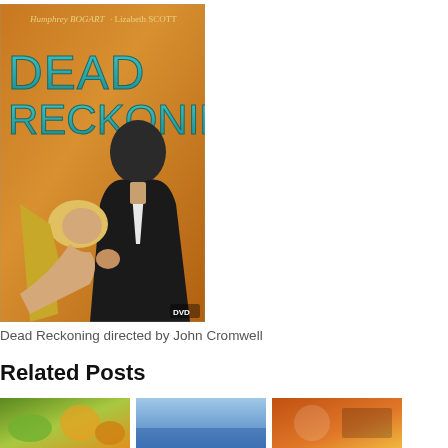[Figure (photo): DVD cover of 'Dead Reckoning' featuring Humphrey Bogart and Lizabeth Scott. Orange/golden background with teal letters spelling 'DEAD RECKONING'. A man in dark suit holds a blonde woman who is leaning back. Text at top reads 'Humphrey BOGART · Lizabeth SCOTT'. DVD logo in bottom right.]
Dead Reckoning directed by John Cromwell
Related Posts
[Figure (photo): Thumbnail image showing green and orange food items]
[Figure (photo): Thumbnail image with blue background]
[Figure (photo): Thumbnail image with orange/brown tones]